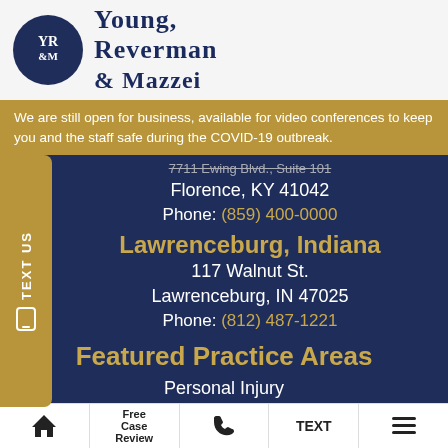[Figure (logo): Young, Reverman & Mazzei law firm logo — dark navy oval with YR&M monogram in white, beside the firm name in large serif navy text]
We are still open for business, available for video conferences to keep you and the staff safe during the COVID-19 outbreak.
7711 Ewing Blvd., Suite 101
Florence, KY 41042
Phone: (859) 400-0000
Lawrenceburg, Indiana
117 Walnut St.
Lawrenceburg, IN 47025
Phone: (812) 487-1221
Featured Practice Areas
Personal Injury
Free Case Review | TEXT